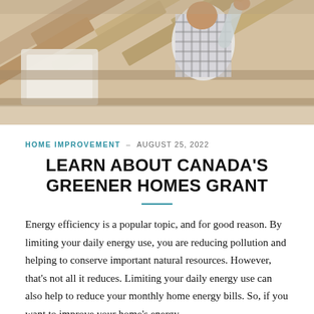[Figure (photo): A person wearing a plaid/checkered shirt working on or inspecting wooden roof beams or attic framing, viewed from below at an angle.]
HOME IMPROVEMENT – AUGUST 25, 2022
LEARN ABOUT CANADA'S GREENER HOMES GRANT
Energy efficiency is a popular topic, and for good reason. By limiting your daily energy use, you are reducing pollution and helping to conserve important natural resources. However, that's not all it reduces. Limiting your daily energy use can also help to reduce your monthly home energy bills. So, if you want to improve your home's energy